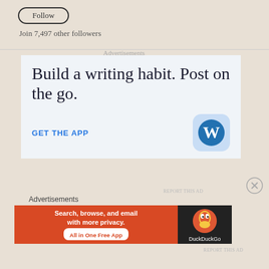Follow
Join 7,497 other followers
Advertisements
[Figure (infographic): WordPress app advertisement showing 'Build a writing habit. Post on the go.' with 'GET THE APP' link and WordPress icon]
REPORT THIS AD
Advertisements
[Figure (infographic): DuckDuckGo advertisement: 'Search, browse, and email with more privacy. All in One Free App' with DuckDuckGo logo on dark background]
REPORT THIS AD